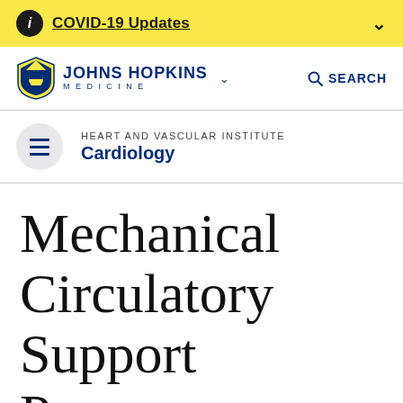COVID-19 Updates
[Figure (logo): Johns Hopkins Medicine logo with shield icon, name and medicine subtitle]
HEART AND VASCULAR INSTITUTE Cardiology
Mechanical Circulatory Support Program